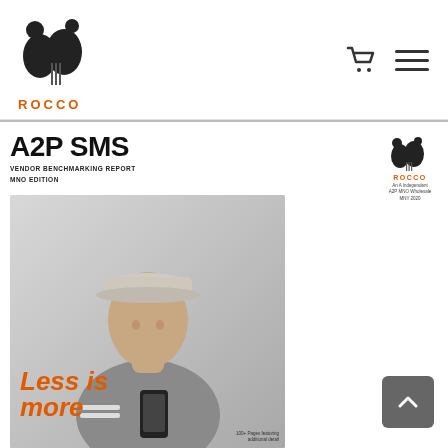[Figure (logo): Rocco brand logo with abstract leaf/teardrop shapes in black and orange ROCCO text below]
[Figure (logo): Shopping cart icon]
[Figure (logo): Hamburger menu icon (three horizontal lines)]
A2P SMS
VENDOR BENCHMARKING REPORT
MNO EDITION
[Figure (logo): Small Rocco logo with descriptive text: 'An A Independent A2P MNO Wholesale MNY 2020']
[Figure (photo): Man wearing cap looking at smartphone, with orange italic text 'Less is more' overlaid at bottom left, and small text '100+ Pages featuring...' at bottom right]